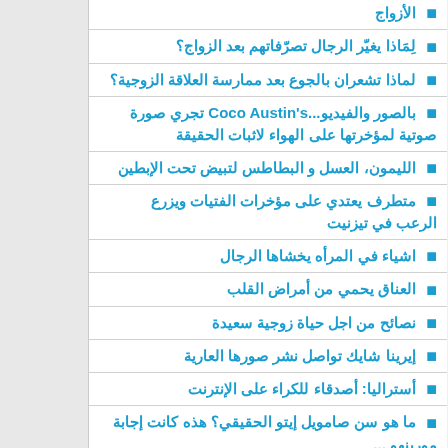الأزواج
لِمَاذا يغيّر الرجال تصرّفاتهم بعد الزواج؟
لماذا تشعران بالجوع بعد ممارسة العلاقة الزوجية؟
بالصور والفيديو...Coco Austin's تجري صورة صوتية لمؤخرتها على الهواء لاثبات الحقيقة
الليمون، العسل و البطاطس لتبيض تحت الإبطين
متطرف يعتدي على مؤخرات الفتيات ويزرع الرعب في تيزنيت
اشياء في المرأه يخشاها الرجال
العناق يحمي من أمراض القلب
نصائح من اجل حياة زوجية سعيدة
إيرينا شايك تواصل نشر صورها العارية
أستراليا: أصدقاء للكراء على الإنترنت
ما هو سن صامويل إيتو الحقيقي؟ هذه كانت إجابة مورينهو ...
صور جينيفر لورانس عارية